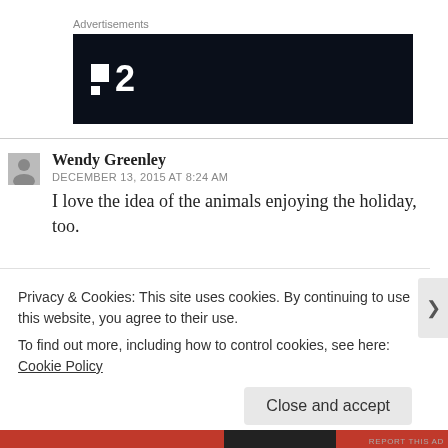Advertisements
[Figure (logo): Dark navy/black advertisement banner with a logo consisting of two white squares and the number 2 in white, resembling a TV channel logo (FilmOn or similar).]
Wendy Greenley
DECEMBER 13, 2015 AT 8:24 AM
I love the idea of the animals enjoying the holiday, too.
Privacy & Cookies: This site uses cookies. By continuing to use this website, you agree to their use.
To find out more, including how to control cookies, see here: Cookie Policy